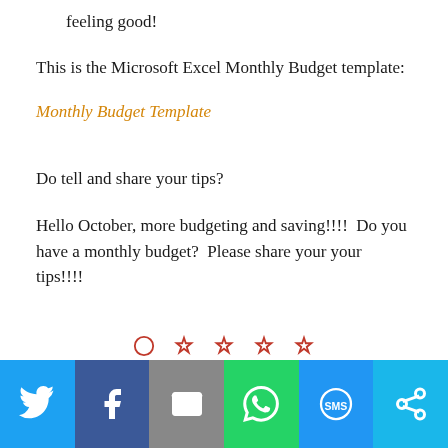feeling good!
This is the Microsoft Excel Monthly Budget template:
Monthly Budget Template
Do tell and share your tips?
Hello October, more budgeting and saving!!!!  Do you have a monthly budget?  Please share your your tips!!!!
Social share bar: Twitter, Facebook, Email, WhatsApp, SMS, More